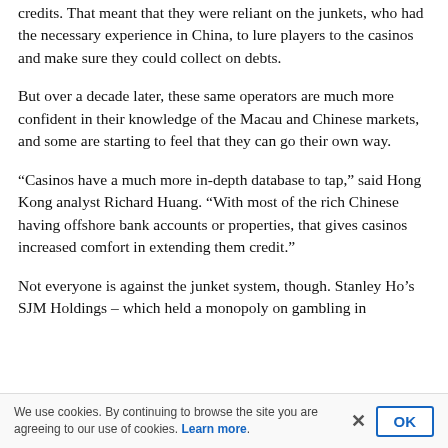credits. That meant that they were reliant on the junkets, who had the necessary experience in China, to lure players to the casinos and make sure they could collect on debts.
But over a decade later, these same operators are much more confident in their knowledge of the Macau and Chinese markets, and some are starting to feel that they can go their own way.
“Casinos have a much more in-depth database to tap,” said Hong Kong analyst Richard Huang. “With most of the rich Chinese having offshore bank accounts or properties, that gives casinos increased comfort in extending them credit.”
Not everyone is against the junket system, though. Stanley Ho’s SJM Holdings – which held a monopoly on gambling in
We use cookies. By continuing to browse the site you are agreeing to our use of cookies. Learn more.